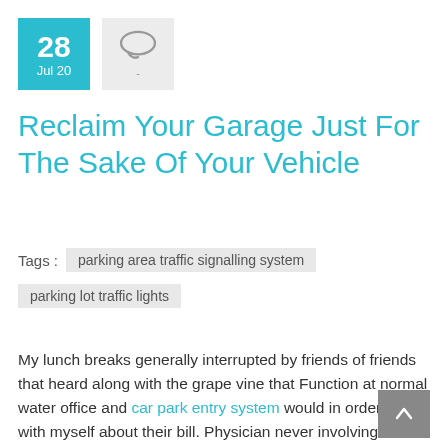28 Jul 20
Reclaim Your Garage Just For The Sake Of Your Vehicle
Tags : parking area traffic signalling system
parking lot traffic lights
My lunch breaks generally interrupted by friends of friends that heard along with the grape vine that Function at normal water office and car park entry system would in order to talk with myself about their bill. Physician never involving a lunch time? Besides, I can't really give you a hand that a whole lot.